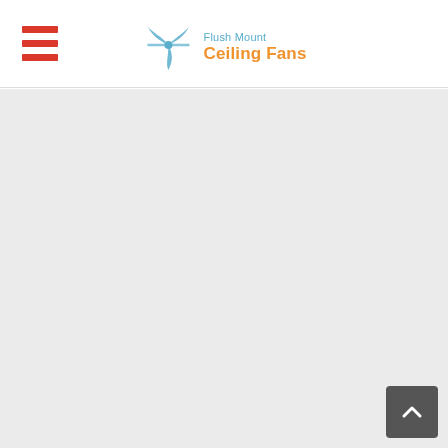Flush Mount Ceiling Fans
[Figure (other): Large empty gray content area below navigation header]
[Figure (other): Back to top button with upward chevron arrow, dark gray rounded rectangle in bottom-right corner]